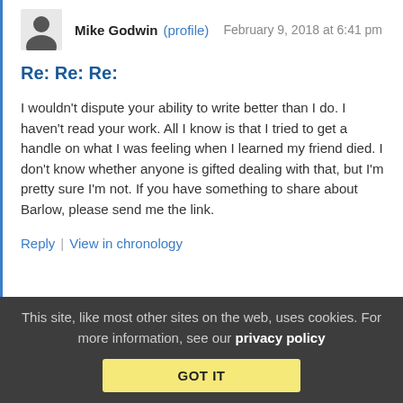[Figure (other): User avatar silhouette icon (generic person profile image)]
Mike Godwin (profile)   February 9, 2018 at 6:41 pm
Re: Re: Re:
I wouldn't dispute your ability to write better than I do. I haven't read your work. All I know is that I tried to get a handle on what I was feeling when I learned my friend died. I don't know whether anyone is gifted dealing with that, but I'm pretty sure I'm not. If you have something to share about Barlow, please send me the link.
Reply | View in chronology
This site, like most other sites on the web, uses cookies. For more information, see our privacy policy
GOT IT